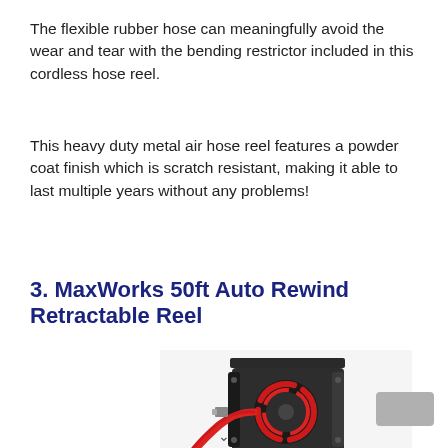The flexible rubber hose can meaningfully avoid the wear and tear with the bending restrictor included in this cordless hose reel.
This heavy duty metal air hose reel features a powder coat finish which is scratch resistant, making it able to last multiple years without any problems!
3. MaxWorks 50ft Auto Rewind Retractable Reel
[Figure (photo): Photo of a MaxWorks retractable air hose reel — black metal frame with red hose wound on the spool, mounted on a bracket.]